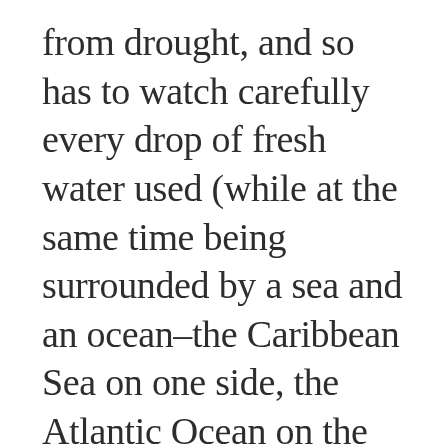from drought, and so has to watch carefully every drop of fresh water used (while at the same time being surrounded by a sea and an ocean–the Caribbean Sea on one side, the Atlantic Ocean on the other),